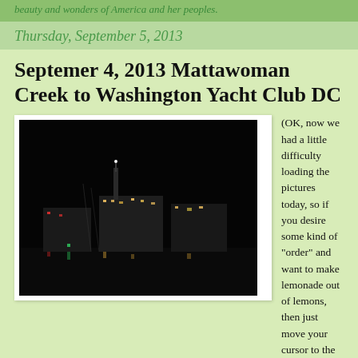beauty and wonders of America and her peoples.
Thursday, September 5, 2013
Septemer 4, 2013 Mattawoman Creek to Washington Yacht Club DC
[Figure (photo): Night-time cityscape photo showing city lights reflected on water, dark sky, buildings and a tall tower visible in the background]
(OK, now we had a little difficulty loading the pictures today, so if you desire some kind of "order" and want to make lemonade out of lemons, then just move your cursor to the bottom of the page and work your way up... Thanks for understanding.) Night time view from our